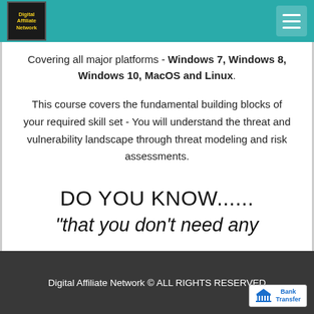Digital Affiliate Network
Covering all major platforms - Windows 7, Windows 8, Windows 10, MacOS and Linux.
This course covers the fundamental building blocks of your required skill set - You will understand the threat and vulnerability landscape through threat modeling and risk assessments.
DO YOU KNOW......
"that you don't need any
Digital Affiliate Network © ALL RIGHTS RESERVED